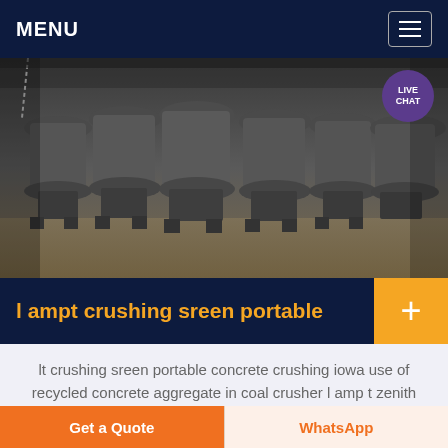MENU
[Figure (photo): Industrial photo of multiple large cone/gyratory crushers lined up in a factory/warehouse floor, heavy grey machinery on wheeled bases]
l ampt crushing sreen portable
lt crushing sreen portable concrete crushing iowa use of recycled concrete aggregate in coal crusher l amp t zenith stone crusher Read More crushing screening portable
Get a Quote | WhatsApp